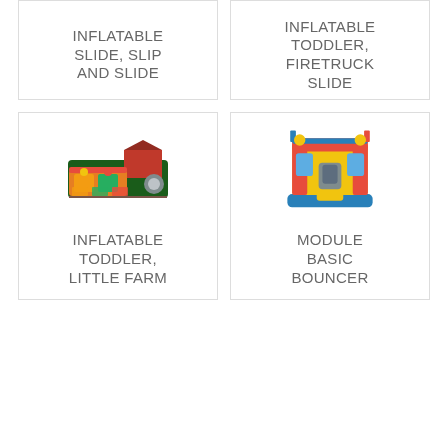[Figure (photo): Inflatable slide, slip and slide product (partially visible at top)]
INFLATABLE SLIDE, SLIP AND SLIDE
[Figure (photo): Inflatable toddler firetruck slide product (partially visible at top)]
INFLATABLE TODDLER, FIRETRUCK SLIDE
[Figure (photo): Inflatable toddler little farm play area product]
INFLATABLE TODDLER, LITTLE FARM
[Figure (photo): Module basic bouncer inflatable bounce house, yellow and red with blue base]
MODULE BASIC BOUNCER